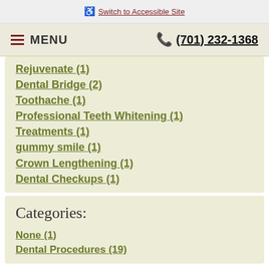♿ Switch to Accessible Site
≡ MENU   📞 (701) 232-1368
Rejuvenate (1)
Dental Bridge (2)
Toothache (1)
Professional Teeth Whitening (1)
Treatments (1)
gummy smile (1)
Crown Lengthening (1)
Dental Checkups (1)
Categories:
None (1)
Dental Procedures (19)